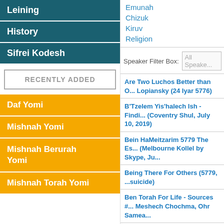Leining
History
Sifrei Kodesh
RECENTLY ADDED
Daf Yomi
Mishnah Yomi
Mishnah Berurah Yomi
Mishnah Torah Yomi
Emunah
Chizuk
Kiruv
Religion
Speaker Filter Box: All Speakers
Are Two Luchos Better than O... Lopiansky (24 Iyar 5776)
B'Tzelem Yis'halech Ish - Findi... (Coventry Shul, July 10, 2019)
Bein HaMeitzarim 5779 The Es... (Melbourne Kollel by Skype, Ju...
Being There For Others (5779, ...suicide)
Ben Torah For Life - Sources #... Meshech Chochma, Ohr Samea...
Ben Torah For Life - Sources #...